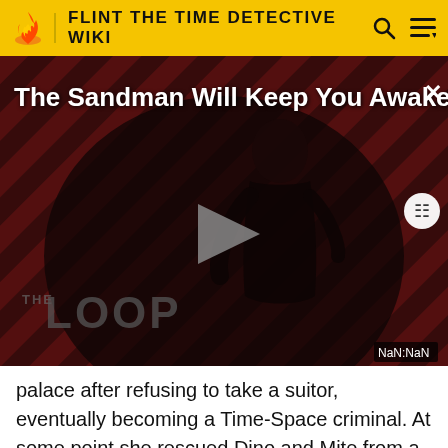FLINT THE TIME DETECTIVE WIKI
[Figure (screenshot): Video player banner showing 'The Sandman Will Keep You Awake...' title overlay with a dark stylized figure on a red and black diagonal stripe background, THE LOOP logo at bottom, play button in center, close button top-right, timestamp NaN:NaN bottom-right]
palace after refusing to take a suitor, eventually becoming a Time-Space criminal. At some point she rescued Dino and Mite from a lab and had them turned into her henchmen. Due to her fame, she was approached by the Dark Lord, who she fell instantly in love with and ... the Time Shifters for him...